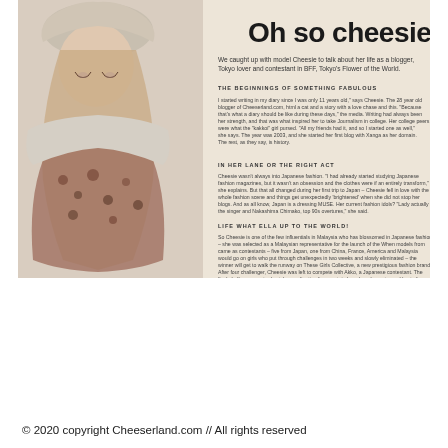[Figure (photo): Magazine spread page featuring a young woman model wearing a fur hat and floral/leopard print outfit. Title reads 'Oh so cheesie!' in handwritten style font. Subtitle text: 'We caught up with model Cheesie to talk about her life as a blogger, Tokyo lover and contestant in BFF, Tokyo's Flower of the World'. Article text with sections about her background, Japanese fashion interest, and competition experience. Background is cream/beige toned.]
© 2020 copyright Cheeserland.com // All rights reserved